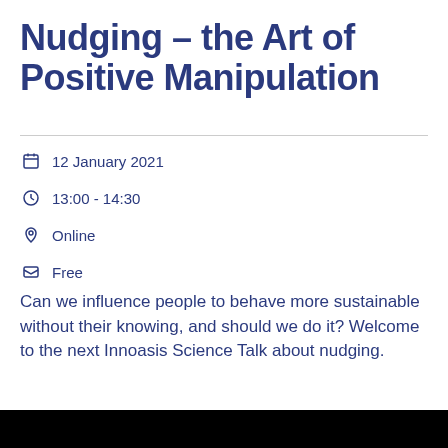Nudging – the Art of Positive Manipulation
12 January 2021
13:00 - 14:30
Online
Free
Can we influence people to behave more sustainable without their knowing, and should we do it? Welcome to the next Innoasis Science Talk about nudging.
[Figure (photo): Black bar at bottom of page, likely bottom of an image or video thumbnail]